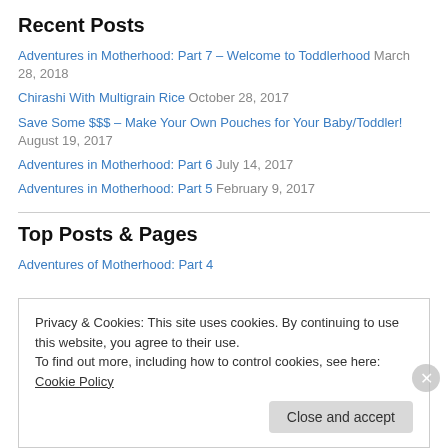Recent Posts
Adventures in Motherhood: Part 7 – Welcome to Toddlerhood March 28, 2018
Chirashi With Multigrain Rice October 28, 2017
Save Some $$$ – Make Your Own Pouches for Your Baby/Toddler! August 19, 2017
Adventures in Motherhood: Part 6 July 14, 2017
Adventures in Motherhood: Part 5 February 9, 2017
Top Posts & Pages
Adventures of Motherhood: Part 4
Privacy & Cookies: This site uses cookies. By continuing to use this website, you agree to their use. To find out more, including how to control cookies, see here: Cookie Policy
Close and accept